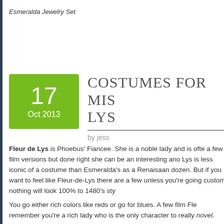Esmeralda Jewelry Set
COSTUMES FOR MIS... LYS
by jess
Fleur de Lys is Phoebus' Fiancee. She is a noble lady and is ofte... a few film versions but done right she can be an interesting ano... Lys is less iconic of a costume than Esmeralda's as a Renaisaan... dozen. But if you want to feel like Fleur-de-Lys there are a few... unless you're going custom nothing will look 100% to 1480's sty...
You go either rich colors like reds or go for blues. A few film Fle... remember you're a rich lady who is the only character to really... novel.